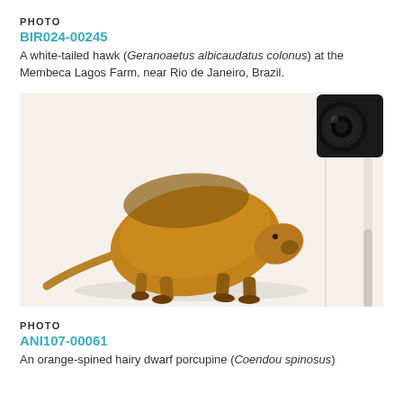PHOTO
BIR024-00245
A white-tailed hawk (Geranoaetus albicaudatus colonus) at the Membeca Lagos Farm, near Rio de Janeiro, Brazil.
[Figure (photo): An orange-spined hairy dwarf porcupine (Coendou spinosus) leaning forward toward a black camera lens in the corner of a white room.]
PHOTO
ANI107-00061
An orange-spined hairy dwarf porcupine (Coendou spinosus)